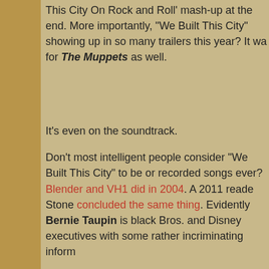This City On Rock and Roll' mash-up at the end. More importantly, "We Built This City" showing up in so many trailers this year? It wa... for The Muppets as well.
It's even on the soundtrack.
Don't most intelligent people consider “We Built This City” to be or... recorded songs ever? Blender and VH1 did in 2004. A 2011 reade... Stone concluded the same thing. Evidently Bernie Taupin is black... Bros. and Disney executives with some rather incriminating inform...